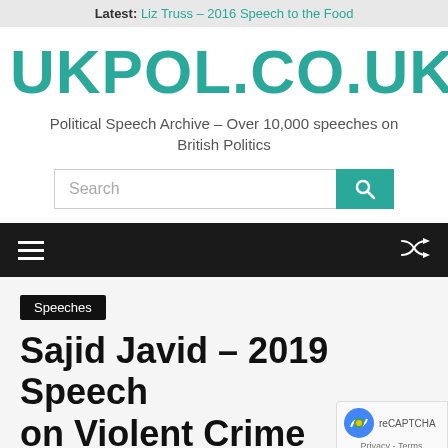Latest: Liz Truss – 2016 Speech to the Food
UKPOL.CO.UK
Political Speech Archive – Over 10,000 speeches on British Politics
[Figure (screenshot): Search bar with teal search button]
[Figure (screenshot): Dark navigation bar with hamburger menu and shuffle icon]
Speeches
Sajid Javid – 2019 Speech on Violent Crime